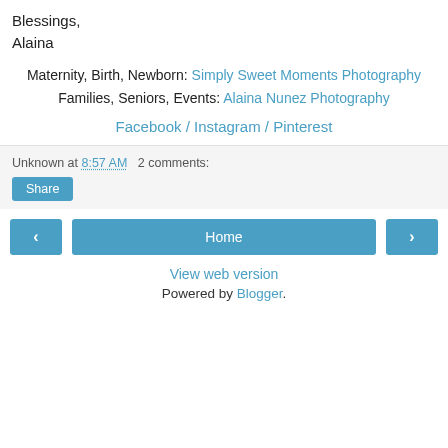Blessings,
Alaina
Maternity, Birth, Newborn: Simply Sweet Moments Photography
Families, Seniors, Events: Alaina Nunez Photography
Facebook / Instagram / Pinterest
Unknown at 8:57 AM   2 comments:
Share
‹    Home    ›
View web version
Powered by Blogger.